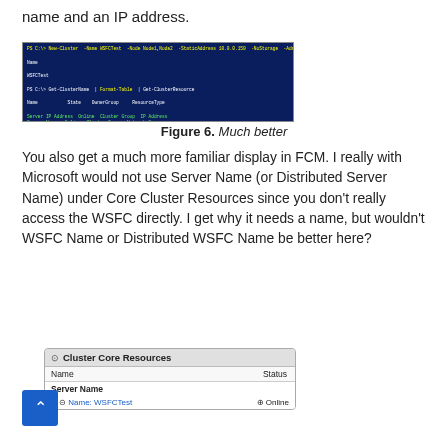name and an IP address.
[Figure (screenshot): PowerShell window showing cluster configuration output with blue background and yellow/white/green text]
Figure 6. Much better
You also get a much more familiar display in FCM. I really with Microsoft would not use Server Name (or Distributed Server Name) under Core Cluster Resources since you don't really access the WSFC directly. I get why it needs a name, but wouldn't WSFC Name or Distributed WSFC Name be better here?
[Figure (screenshot): Failover Cluster Manager showing Cluster Core Resources panel with Server Name entry WSFCTest showing Online status]